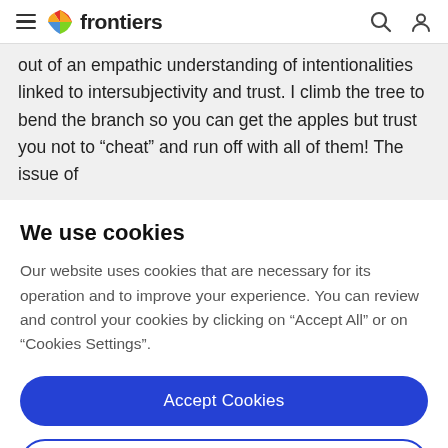frontiers
out of an empathic understanding of intentionalities linked to intersubjectivity and trust. I climb the tree to bend the branch so you can get the apples but trust you not to "cheat" and run off with all of them! The issue of
We use cookies
Our website uses cookies that are necessary for its operation and to improve your experience. You can review and control your cookies by clicking on "Accept All" or on "Cookies Settings".
Accept Cookies
Cookies Settings